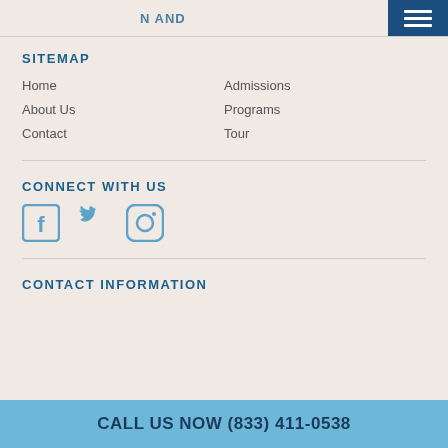N AND ...
SITEMAP
Home
About Us
Contact
Admissions
Programs
Tour
CONNECT WITH US
[Figure (other): Social media icons: Facebook, Twitter, Instagram]
CONTACT INFORMATION
CALL US NOW (833) 411-0538